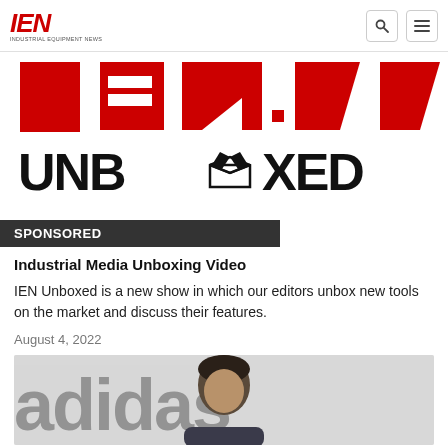IEN - Industrial Equipment News
[Figure (logo): IEN Unboxed banner showing IEN logo in red and UNBOXED text with open box icon]
SPONSORED
Industrial Media Unboxing Video
IEN Unboxed is a new show in which our editors unbox new tools on the market and discuss their features.
August 4, 2022
[Figure (photo): Man in front of adidas logo background]